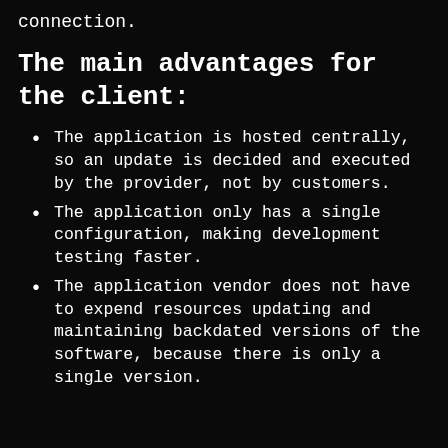connection.
The main advantages for the client:
The application is hosted centrally, so an update is decided and executed by the provider, not by customers.
The application only has a single configuration, making development testing faster.
The application vendor does not have to expend resources updating and maintaining backdated versions of the software, because there is only a single version.